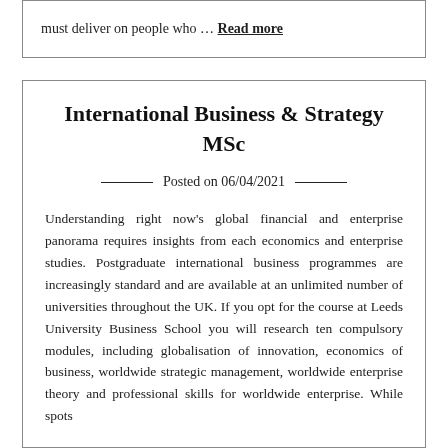must deliver on people who … Read more
International Business & Strategy MSc
Posted on 06/04/2021
Understanding right now's global financial and enterprise panorama requires insights from each economics and enterprise studies. Postgraduate international business programmes are increasingly standard and are available at an unlimited number of universities throughout the UK. If you opt for the course at Leeds University Business School you will research ten compulsory modules, including globalisation of innovation, economics of business, worldwide strategic management, worldwide enterprise theory and professional skills for worldwide enterprise. While spots